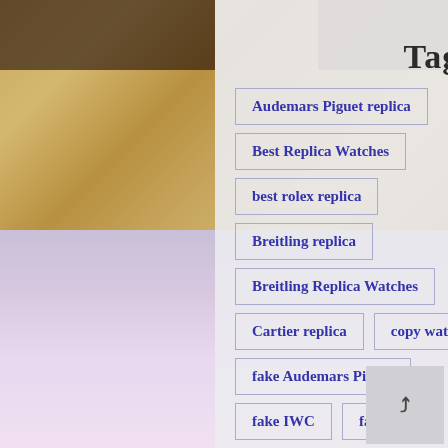Tags
Audemars Piguet replica
Best Replica Watches
best rolex replica
Breitling replica
Breitling Replica Watches
Cartier replica
copy watches
fake Audemars Piguet
fake IWC
fake rolex